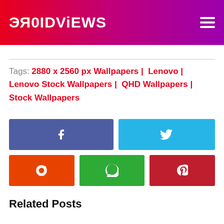DROIDViEWS
Tags: 2880 x 2560 px Wallpapers | Lenovo | Lenovo Stock Wallpapers | QHD Wallpapers | Stock Wallpapers
[Figure (other): Social share buttons: Facebook, Twitter, Reddit, WhatsApp, Pinterest]
Related Posts